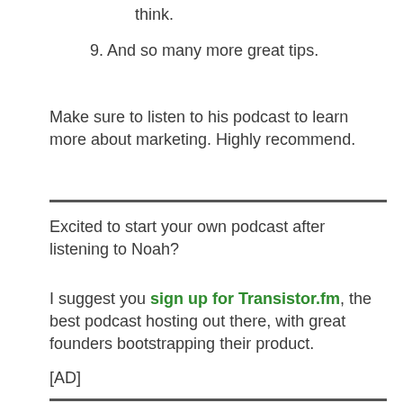think.
9. And so many more great tips.
Make sure to listen to his podcast to learn more about marketing. Highly recommend.
Excited to start your own podcast after listening to Noah?
I suggest you sign up for Transistor.fm, the best podcast hosting out there, with great founders bootstrapping their product.
[AD]